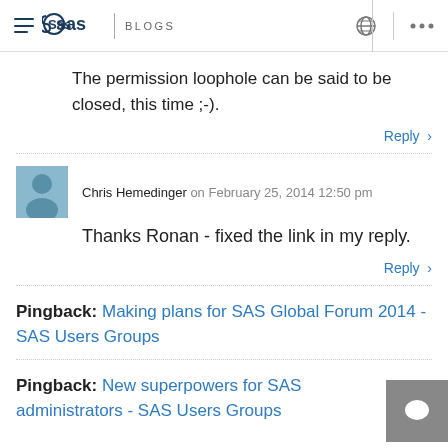SAS BLOGS
The permission loophole can be said to be closed, this time ;-).
Reply
Chris Hemedinger on February 25, 2014 12:50 pm
Thanks Ronan - fixed the link in my reply.
Reply
Pingback: Making plans for SAS Global Forum 2014 - SAS Users Groups
Pingback: New superpowers for SAS administrators - SAS Users Groups